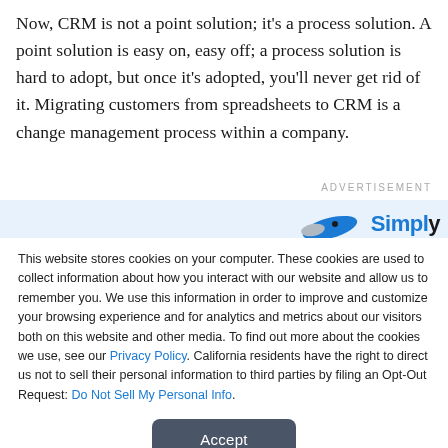Now, CRM is not a point solution; it's a process solution. A point solution is easy on, easy off; a process solution is hard to adopt, but once it's adopted, you'll never get rid of it. Migrating customers from spreadsheets to CRM is a change management process within a company.
ADVERTISEMENT
[Figure (other): Advertisement banner with blue swoosh logo and 'Simply' text in blue]
This website stores cookies on your computer. These cookies are used to collect information about how you interact with our website and allow us to remember you. We use this information in order to improve and customize your browsing experience and for analytics and metrics about our visitors both on this website and other media. To find out more about the cookies we use, see our Privacy Policy. California residents have the right to direct us not to sell their personal information to third parties by filing an Opt-Out Request: Do Not Sell My Personal Info.
Accept